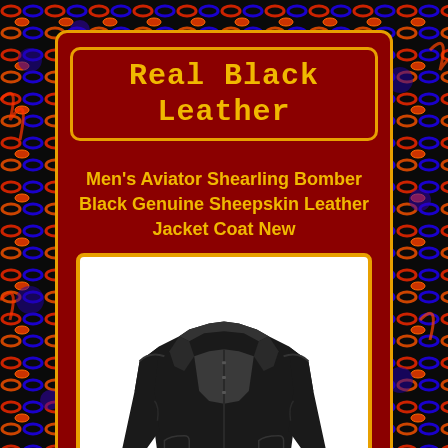[Figure (illustration): Colorful flame and chain-link pattern background in red, blue, and orange]
Real Black Leather
Men's Aviator Shearling Bomber Black Genuine Sheepskin Leather Jacket Coat New
[Figure (photo): Black shearling bomber leather jacket displayed on white background, showing front view with fur lining collar and open front]